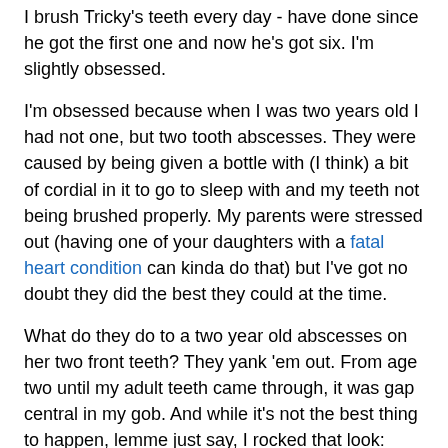I brush Tricky's teeth every day - have done since he got the first one and now he's got six. I'm slightly obsessed.
I'm obsessed because when I was two years old I had not one, but two tooth abscesses. They were caused by being given a bottle with (I think) a bit of cordial in it to go to sleep with and my teeth not being brushed properly. My parents were stressed out (having one of your daughters with a fatal heart condition can kinda do that) but I've got no doubt they did the best they could at the time.
What do they do to a two year old abscesses on her two front teeth? They yank 'em out. From age two until my adult teeth came through, it was gap central in my gob. And while it's not the best thing to happen, lemme just say, I rocked that look:
[Figure (photo): Two old photographs of a young girl as a child, shown side by side.]